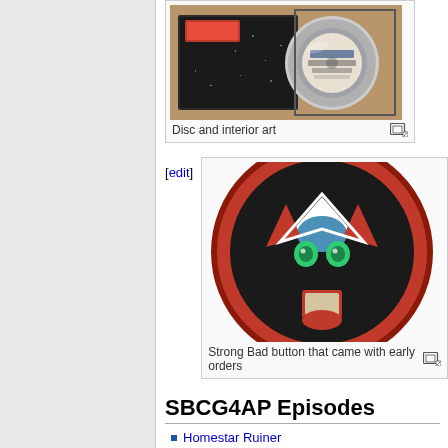[Figure (photo): Disc and interior art - a CD/DVD disc next to a black speckled case interior]
Disc and interior art
[edit]
[Figure (photo): Strong Bad button that came with early orders - a round red button with Strong Bad's face mask]
Strong Bad button that came with early orders
SBCG4AP Episodes
Homestar Ruiner
Strong Badia the Free
Baddest of the Bands